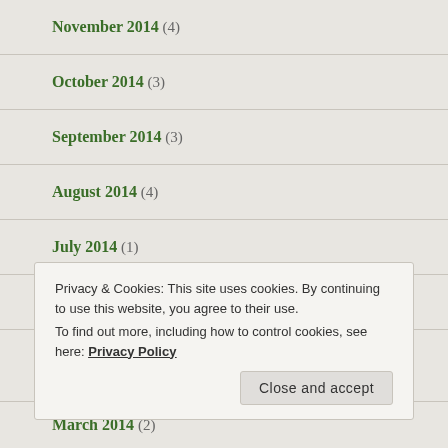November 2014 (4)
October 2014 (3)
September 2014 (3)
August 2014 (4)
July 2014 (1)
June 2014 (2)
Privacy & Cookies: This site uses cookies. By continuing to use this website, you agree to their use.
To find out more, including how to control cookies, see here: Privacy Policy
March 2014 (2)